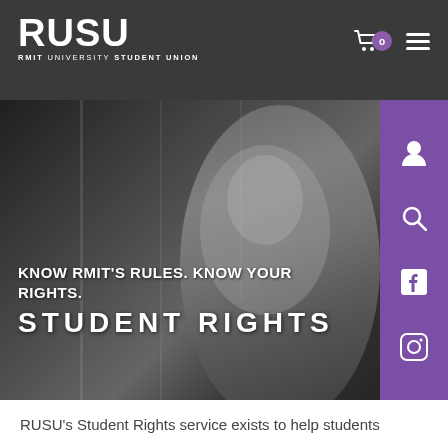RUSU - RMIT UNIVERSITY STUDENT UNION
[Figure (screenshot): Hero banner image showing a black and white photo of a young woman with short dark hair, wearing a necklace, looking thoughtfully to the side. The right side has a purple sidebar with social/navigation icons (user, search, Facebook, Instagram). Overlaid text reads: KNOW RMIT'S RULES. KNOW YOUR RIGHTS. STUDENT RIGHTS]
RUSU's Student Rights service exists to help students